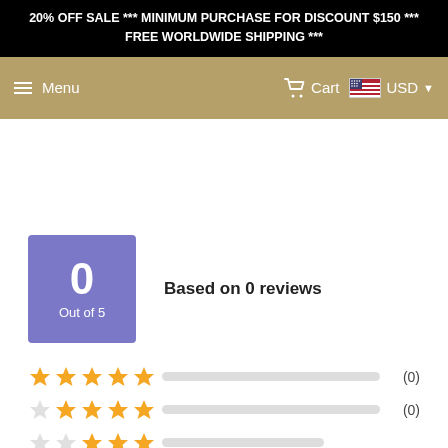20% OFF SALE *** MINIMUM PURCHASE FOR DISCOUNT $150 *** FREE WORLDWIDE SHIPPING ***
Menu | Cart | USD
0
Out of 5
Based on 0 reviews
[Figure (infographic): Star rating rows: 5 stars, 4 stars, 3 stars rows with empty progress bars and (0) counts, plus trust badge icons at bottom right (Google Maps, security lock, 30-day, Shopify, PCI)]